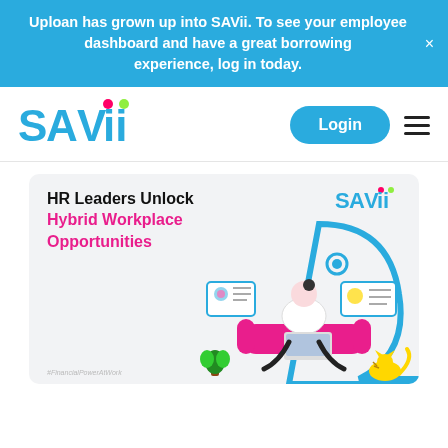Uploan has grown up into SAVii. To see your employee dashboard and have a great borrowing experience, log in today.
[Figure (logo): SAVii logo with colorful accent dots above the letters i]
Login
[Figure (infographic): Card showing HR Leaders Unlock Hybrid Workplace Opportunities with illustration of person working on laptop on pink sofa with SAVii logo and #FinancialPowerAtWork hashtag]